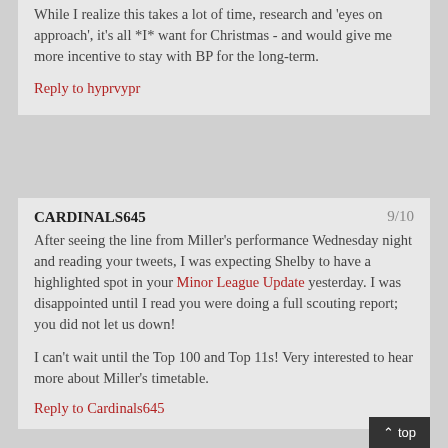While I realize this takes a lot of time, research and 'eyes on approach', it's all *I* want for Christmas - and would give me more incentive to stay with BP for the long-term.
Reply to hyprvypr
CARDINALS645  9/10
After seeing the line from Miller's performance Wednesday night and reading your tweets, I was expecting Shelby to have a highlighted spot in your Minor League Update yesterday. I was disappointed until I read you were doing a full scouting report; you did not let us down!
I can't wait until the Top 100 and Top 11s! Very interested to hear more about Miller's timetable.
Reply to Cardinals645